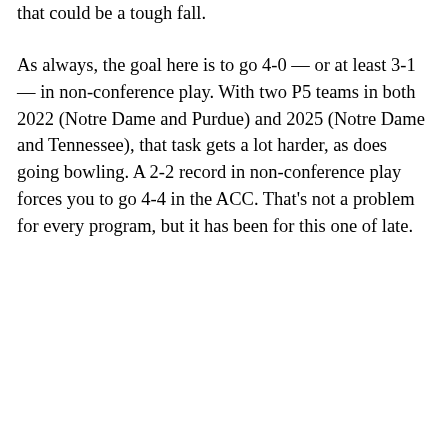that could be a tough fall.
As always, the goal here is to go 4-0 — or at least 3-1 — in non-conference play. With two P5 teams in both 2022 (Notre Dame and Purdue) and 2025 (Notre Dame and Tennessee), that task gets a lot harder, as does going bowling. A 2-2 record in non-conference play forces you to go 4-4 in the ACC. That's not a problem for every program, but it has been for this one of late.